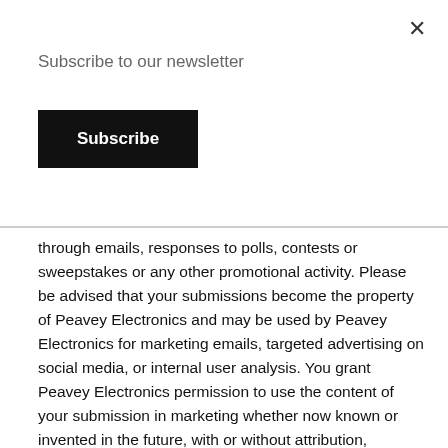×
Subscribe to our newsletter
Subscribe
through emails, responses to polls, contests or sweepstakes or any other promotional activity. Please be advised that your submissions become the property of Peavey Electronics and may be used by Peavey Electronics for marketing emails, targeted advertising on social media, or internal user analysis. You grant Peavey Electronics permission to use the content of your submission in marketing whether now known or invented in the future, with or without attribution, including publication online, trade media, and advertising into perpetuity without limitation. You agree that any content you send us will not violate any rights of any third-party